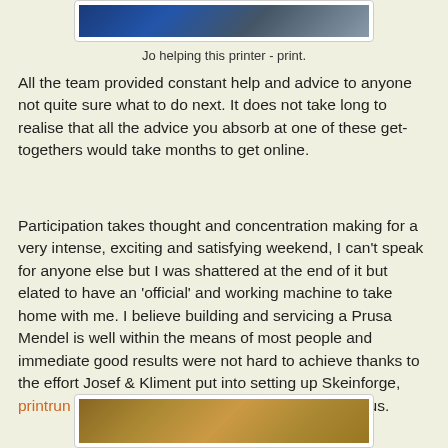[Figure (photo): Photo of Jo helping a printer print - top of page cropped]
Jo helping this printer - print.
All the team provided constant help and advice to anyone not quite sure what to do next. It does not take long to realise that all the advice you absorb at one of these get-togethers would take months to get online.
Participation takes thought and concentration making for a very intense, exciting and satisfying weekend, I can't speak for anyone else but I was shattered at the end of it but elated to have an 'official' and working machine to take home with me. I believe building and servicing a Prusa Mendel is well within the means of most people and immediate good results were not hard to achieve thanks to the effort Josef & Kliment put into setting up Skeinforge, printrun (pronterface) and the Sprinter firmware for us.
[Figure (photo): Photo at the bottom of the page showing workshop/printer parts]